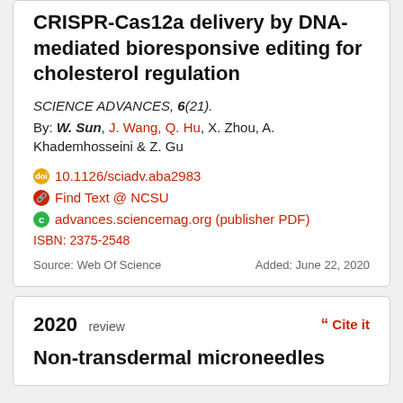CRISPR-Cas12a delivery by DNA-mediated bioresponsive editing for cholesterol regulation
SCIENCE ADVANCES, 6(21).
By: W. Sun, J.Wang, Q. Hu, X. Zhou, A. Khademhosseini & Z. Gu
10.1126/sciadv.aba2983
Find Text @ NCSU
advances.sciencemag.org (publisher PDF)
ISBN: 2375-2548
Source: Web Of Science    Added: June 22, 2020
2020 review
Non-transdermal microneedles